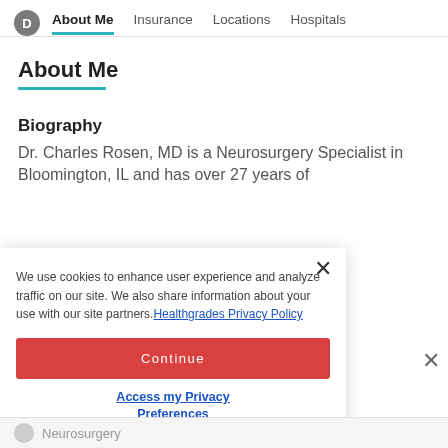About Me | Insurance | Locations | Hospitals
About Me
Biography
Dr. Charles Rosen, MD is a Neurosurgery Specialist in Bloomington, IL and has over 27 years of
We use cookies to enhance user experience and analyze traffic on our site. We also share information about your use with our site partners. Healthgrades Privacy Policy
Continue
Access my Privacy Preferences